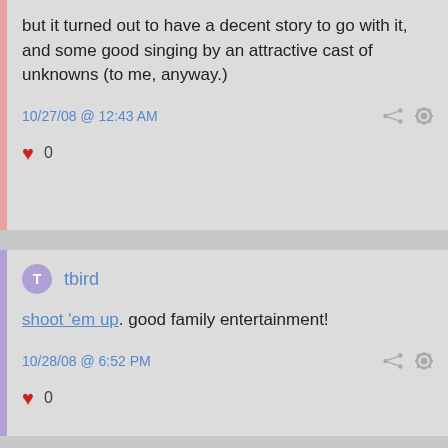but it turned out to have a decent story to go with it, and some good singing by an attractive cast of unknowns (to me, anyway.)
10/27/08 @ 12:43 AM
♥ 0
tbird
shoot 'em up. good family entertainment!
10/28/08 @ 6:52 PM
♥ 0